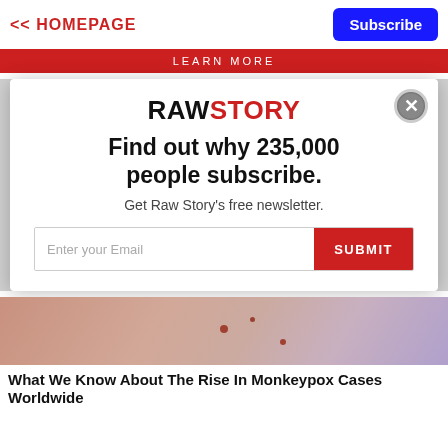<< HOMEPAGE
Subscribe
LEARN MORE
[Figure (logo): RAW STORY logo with RAW in black and STORY in red, bold sans-serif]
Find out why 235,000 people subscribe.
Get Raw Story's free newsletter.
Enter your Email
SUBMIT
[Figure (photo): Close-up of skin with monkeypox lesions/bumps visible, blurred colorful background on the right side]
What We Know About The Rise In Monkeypox Cases Worldwide